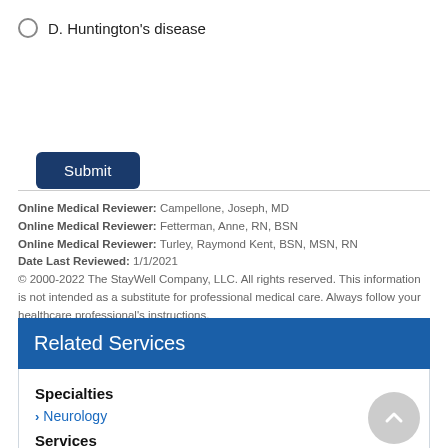D. Huntington's disease
Submit
Online Medical Reviewer: Campellone, Joseph, MD
Online Medical Reviewer: Fetterman, Anne, RN, BSN
Online Medical Reviewer: Turley, Raymond Kent, BSN, MSN, RN
Date Last Reviewed: 1/1/2021
© 2000-2022 The StayWell Company, LLC. All rights reserved. This information is not intended as a substitute for professional medical care. Always follow your healthcare professional's instructions.
Related Services
Specialties
Neurology
Services
Neurology